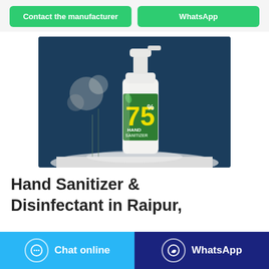Contact the manufacturer
WhatsApp
[Figure (photo): A white pump-dispenser bottle of 75% Hand Sanitizer with a green label, placed on a white surface against a dark blue background with blurred white flowers.]
Hand Sanitizer & Disinfectant in Raipur,
Chat online
WhatsApp